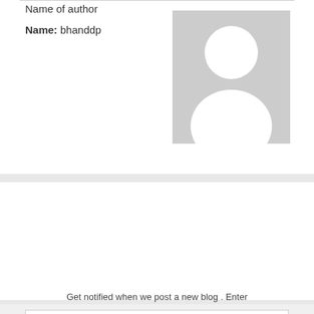Name of author
Name: bhanddp
[Figure (illustration): Default user avatar placeholder image — grey background with white silhouette of a person]
Get notified when we post a new blog . Enter